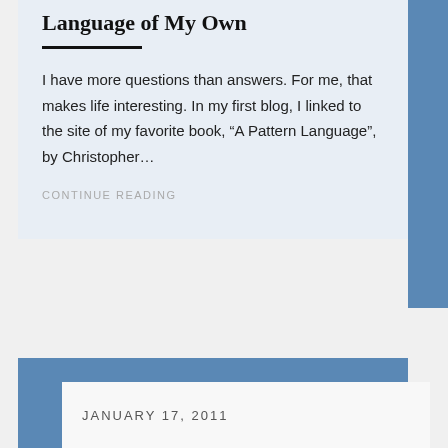Language of My Own
I have more questions than answers. For me, that makes life interesting. In my first blog, I linked to the site of my favorite book, “A Pattern Language”, by Christopher…
CONTINUE READING
JANUARY 17, 2011